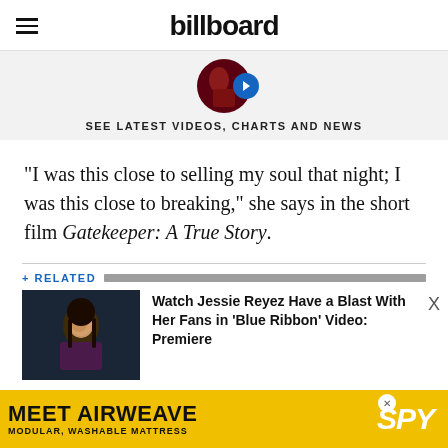billboard
[Figure (screenshot): Billboard promo thumbnail with circular image and blue arrow button]
SEE LATEST VIDEOS, CHARTS AND NEWS
“I was this close to selling my soul that night; I was this close to breaking,” she says in the short film Gatekeeper: A True Story.
+ RELATED
[Figure (photo): Photo of Jessie Reyez, a young woman with long dark hair wearing a purple top]
Watch Jessie Reyez Have a Blast With Her Fans in 'Blue Ribbon' Video: Premiere
[Figure (screenshot): Advertisement banner: MEET AIRWEAVE MODULAR, WASHABLE MATTRESS / SPY]